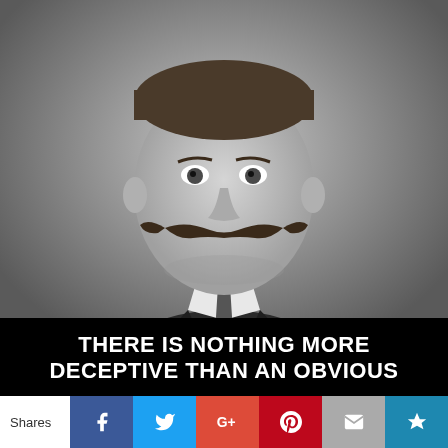[Figure (photo): Black and white portrait photograph of a man with a large handlebar mustache wearing a dark suit and tie, shot from chest up against a light background.]
THERE IS NOTHING MORE DECEPTIVE THAN AN OBVIOUS
Shares
[Figure (infographic): Social share bar with Facebook, Twitter, Google+, Pinterest, Email, and bookmark buttons]